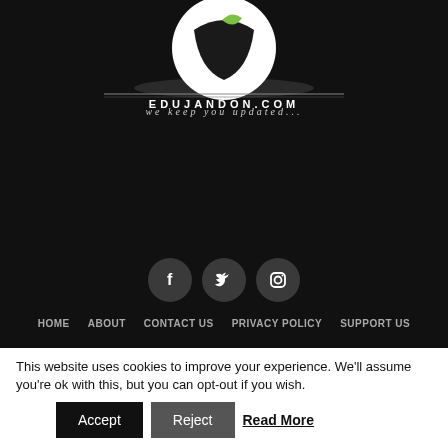[Figure (logo): EduJandon.com logo with stylized bird/arrow icon on black background, text EDUJANDON.COM and tagline 'we keep you updated...']
[Figure (infographic): Three social media icon circles: Facebook (f), Twitter (bird), Instagram (camera)]
HOME   ABOUT   CONTACT US   PRIVACY POLICY   SUPPORT US
This website uses cookies to improve your experience. We'll assume you're ok with this, but you can opt-out if you wish.
Accept   Reject   Read More